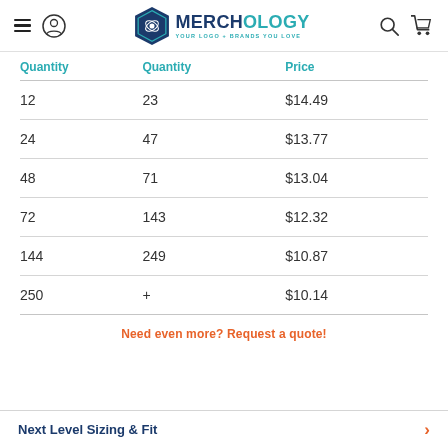Merchology — YOUR LOGO + BRANDS YOU LOVE
| Quantity | Quantity | Price |
| --- | --- | --- |
| 12 | 23 | $14.49 |
| 24 | 47 | $13.77 |
| 48 | 71 | $13.04 |
| 72 | 143 | $12.32 |
| 144 | 249 | $10.87 |
| 250 | + | $10.14 |
Need even more? Request a quote!
Next Level Sizing & Fit